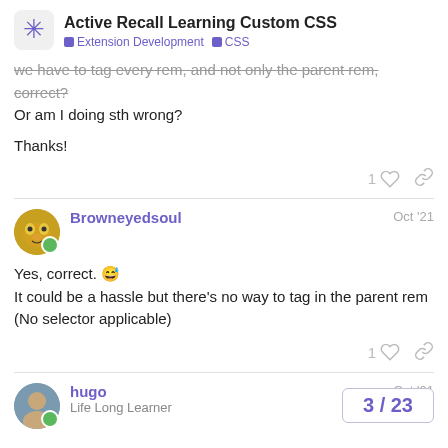Active Recall Learning Custom CSS | Extension Development | CSS
we have to tag every rem, and not only the parent rem, correct? Or am I doing sth wrong?
Thanks!
1 [like] [link]
Browneyedsoul  Oct '21
Yes, correct. 😅
It could be a hassle but there's no way to tag in the parent rem (No selector applicable)
1 [like] [link]
hugo  Oct '21
Life Long Learner
3 / 23